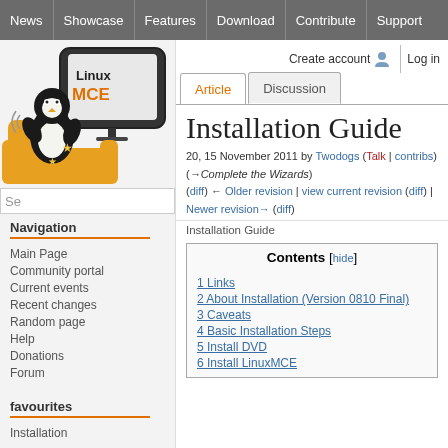News | Showcase | Features | Download | Contribute | Support
[Figure (logo): LinuxMCE logo with penguin mascot sitting in a chair watching a TV screen that reads LinuxMCE]
Create account  Log in
Article  Discussion
Installation Guide
20, 15 November 2011 by Twodogs (Talk | contribs) (→Complete the Wizards)
(diff) ← Older revision | view current revision (diff) | Newer revision→ (diff)
Installation Guide
Navigation
Main Page
Community portal
Current events
Recent changes
Random page
Help
Donations
Forum
favourites
Installation
| Contents [hide] |
| --- |
| 1 Links |
| 2 About Installation (Version 0810 Final) |
| 3 Caveats |
| 4 Basic Installation Steps |
| 5 Install DVD |
| 6 Install LinuxMCE |